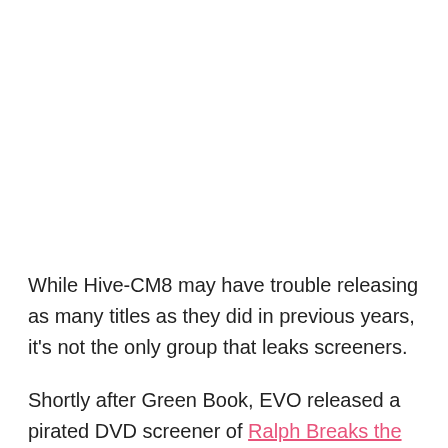While Hive-CM8 may have trouble releasing as many titles as they did in previous years, it's not the only group that leaks screeners.
Shortly after Green Book, EVO released a pirated DVD screener of Ralph Breaks the Internet.